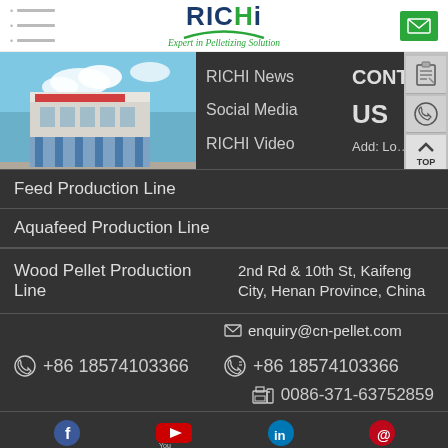[Figure (logo): RICHI logo with green arch and tagline 'Expert in Pelletizing Solution']
[Figure (photo): RICHI factory/building exterior photo with blue sky]
RICHI News
CONTACT US
Social Media
Add: Lo... 2nd Rd & 10th St, Kaifeng City, Henan Province, China
RICHI Video
Feed Production Line
Aquafeed Production Line
Wood Pellet Production Line
enquiry@cn-pellet.com
+86 18574103366
+86 18574103366
0086-371-63752859
[Figure (infographic): Social media icons: Facebook, YouTube, LinkedIn, Pinterest/other]